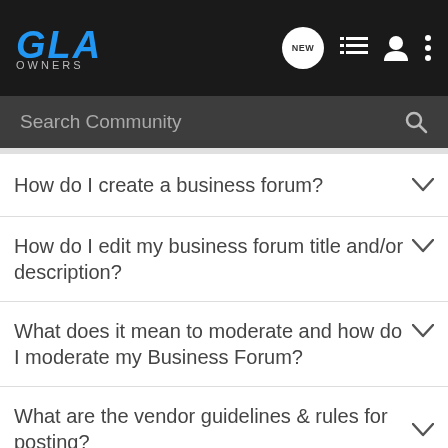GLA OWNERS
Search Community
How do I create a business forum?
How do I edit my business forum title and/or description?
What does it mean to moderate and how do I moderate my Business Forum?
What are the vendor guidelines & rules for posting?
Vendor Deals